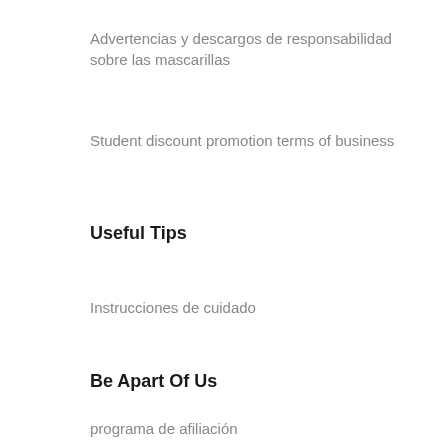Advertencias y descargos de responsabilidad sobre las mascarillas
Student discount promotion terms of business
Useful Tips
Instrucciones de cuidado
Be Apart Of Us
programa de afiliación
Resources